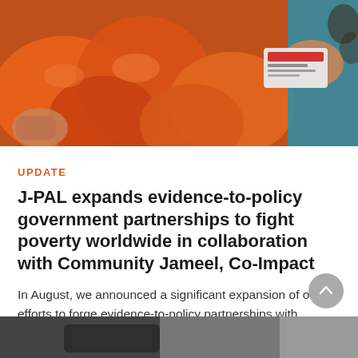[Figure (photo): Hands holding orange plastic bags and an identity card, likely a food assistance or social program distribution scene.]
UPDATE
J-PAL expands evidence-to-policy government partnerships to fight poverty worldwide in collaboration with Community Jameel, Co-Impact
In August, we announced a significant expansion of our efforts to forge evidence-to-policy partnerships with innovative-minded governments seeking to use rigorous research to inform their social policies and programs.
[Figure (photo): Partial bottom image, cropped, appearing to show a dark device or object on a lighter surface.]